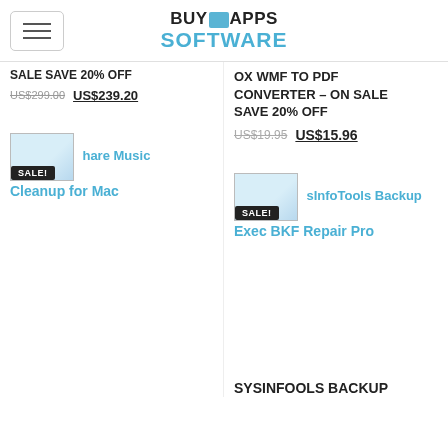BuyApps Software
SALE SAVE 20% OFF – US$299.00 US$239.20
OX WMF TO PDF CONVERTER – ON SALE SAVE 20% OFF
US$19.95  US$15.96
[Figure (screenshot): Product image thumbnail with SALE! badge for Tshare Music Cleanup for Mac]
Tshare Music Cleanup for Mac
[Figure (screenshot): Product image thumbnail with SALE! badge for SysInfoTools Backup Exec BKF Repair Pro]
SysInfoTools Backup Exec BKF Repair Pro
SYSINFOOLS BACKUP